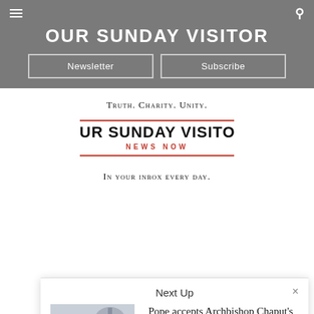OUR SUNDAY VISITOR
Newsletter | Subscribe
Truth. Charity. Unity.
[Figure (logo): Our Sunday Visitor News Now logo with red horizontal rules and red 'NEWS NOW' text]
In your inbox every day.
Next Up
[Figure (photo): Photo of Archbishop Chaput standing in front of St. Peter's Basilica dome]
Pope accepts Archbishop Chaput's resignation; Bishop Perez named successor
Catholic News Service • January 23, 2020